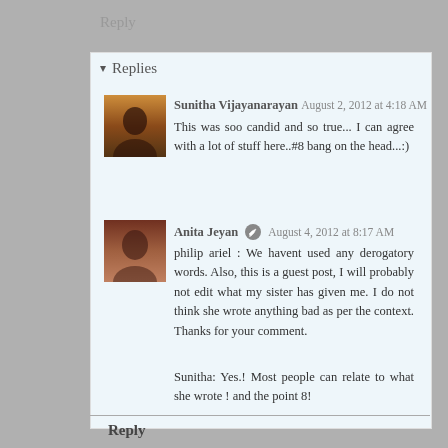Reply
▾ Replies
Sunitha Vijayanarayan  August 2, 2012 at 4:18 AM
This was soo candid and so true... I can agree with a lot of stuff here..#8 bang on the head...:)
Anita Jeyan  August 4, 2012 at 8:17 AM
philip ariel : We havent used any derogatory words. Also, this is a guest post, I will probably not edit what my sister has given me. I do not think she wrote anything bad as per the context. Thanks for your comment.

Sunitha: Yes.! Most people can relate to what she wrote ! and the point 8!
Reply